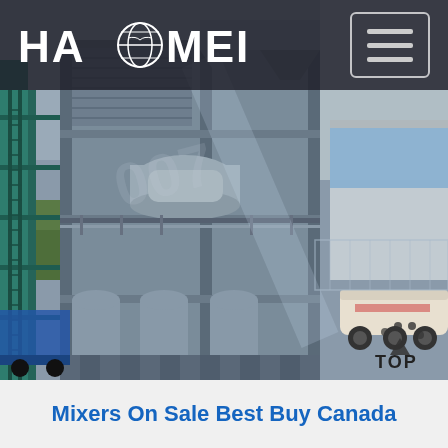[Figure (logo): HAOMEI company logo in white text with globe icon, on dark translucent header bar, with hamburger menu button on right]
[Figure (photo): Industrial concrete batching plant or mixing tower facility, multi-story steel-framed grey structure with conveyors and hoppers, green vegetation and truck visible in background]
Mixers On Sale Best Buy Canada